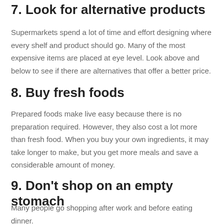7. Look for alternative products
Supermarkets spend a lot of time and effort designing where every shelf and product should go. Many of the most expensive items are placed at eye level. Look above and below to see if there are alternatives that offer a better price.
8. Buy fresh foods
Prepared foods make live easy because there is no preparation required. However, they also cost a lot more than fresh food. When you buy your own ingredients, it may take longer to make, but you get more meals and save a considerable amount of money.
9. Don't shop on an empty stomach
Many people go shopping after work and before eating dinner.